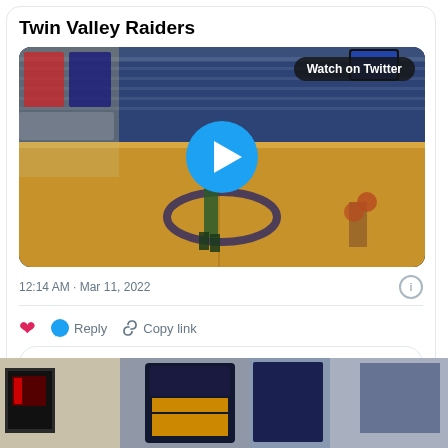Twin Valley Raiders
[Figure (screenshot): Basketball game video thumbnail showing a gymnasium with players on court, blue bleachers, crowd in background. Blue play button overlay in center. 'Watch on Twitter' badge in top right corner.]
12:14 AM · Mar 11, 2022
[Figure (photo): Bottom portion of page showing a basketball gymnasium interior, scoreboard visible on left, banners/posters on walls.]